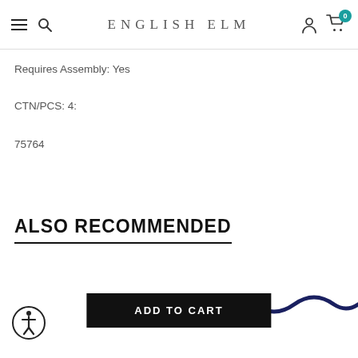ENGLISH ELM
Requires Assembly: Yes
CTN/PCS: 4:
75764
ALSO RECOMMENDED
[Figure (other): Decorative wavy line element at bottom right of page]
ADD TO CART